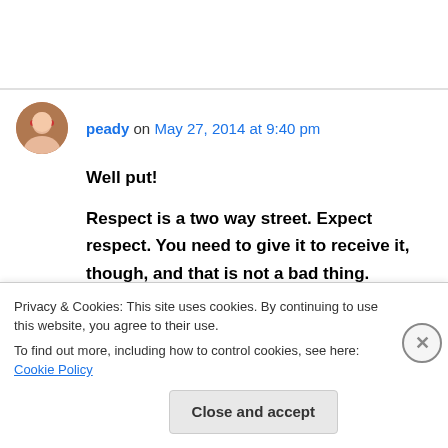peady on May 27, 2014 at 9:40 pm
Well put!
Respect is a two way street. Expect respect. You need to give it to receive it, though, and that is not a bad thing.
One day I hope kindness will prevail. I believe it
Privacy & Cookies: This site uses cookies. By continuing to use this website, you agree to their use.
To find out more, including how to control cookies, see here: Cookie Policy
Close and accept